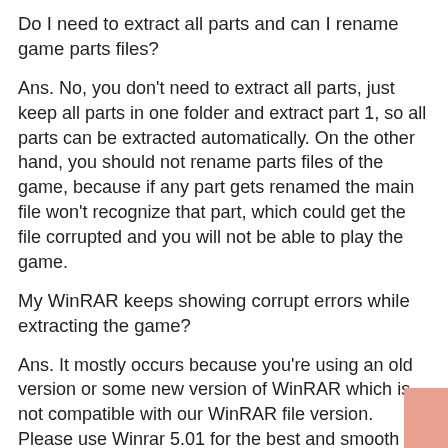Do I need to extract all parts and can I rename game parts files?
Ans. No, you don't need to extract all parts, just keep all parts in one folder and extract part 1, so all parts can be extracted automatically. On the other hand, you should not rename parts files of the game, because if any part gets renamed the main file won't recognize that part, which could get the file corrupted and you will not be able to play the game.
My WinRAR keeps showing corrupt errors while extracting the game?
Ans. It mostly occurs because you're using an old version or some new version of WinRAR which is not compatible with our WinRAR file version. Please use Winrar 5.01 for the best and smooth extraction without any errors.
When I install the game my anti-virus or anti-malware program pops-up and shows the game file as a virus. Does your game have a virus?
Ans. All anti-virus programs get paid to stop crack games, so when anti-virus detects cracked game or cracked game setup, it deletes the crack file or aborts setup before the installation